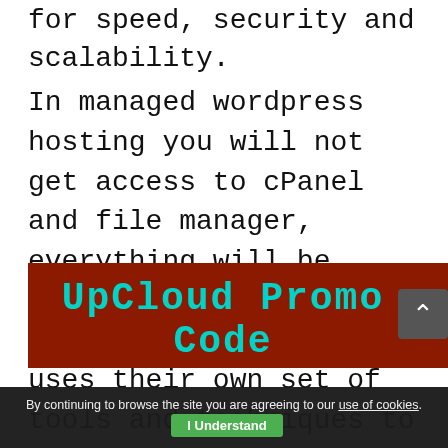for speed, security and scalability.
In managed wordpress hosting you will not get access to cPanel and file manager, everything will be managed by the service provider. Every company uses their own set of tools and techniques to optimise and manage the hosting server for managed WordPress hosting plans.
[Figure (illustration): UpCloud Promo Code banner with teal/cyan bold text on dark red background, with a scroll-up arrow button on the right]
By continuing to browse the site you are agreeing to our use of cookies. I Understand